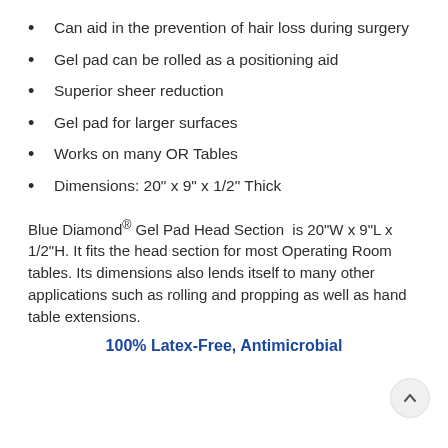Can aid in the prevention of hair loss during surgery
Gel pad can be rolled as a positioning aid
Superior sheer reduction
Gel pad for larger surfaces
Works on many OR Tables
Dimensions: 20" x 9" x 1/2" Thick
Blue Diamond® Gel Pad Head Section is 20"W x 9"L x 1/2"H. It fits the head section for most Operating Room tables. Its dimensions also lends itself to many other applications such as rolling and propping as well as hand table extensions.
100% Latex-Free, Antimicrobial